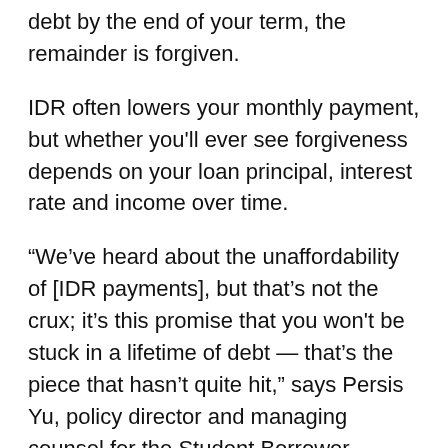debt by the end of your term, the remainder is forgiven.
IDR often lowers your monthly payment, but whether you'll ever see forgiveness depends on your loan principal, interest rate and income over time.
“We’ve heard about the unaffordability of [IDR payments], but that’s not the crux; it’s this promise that you won't be stuck in a lifetime of debt — that’s the piece that hasn’t quite hit,” says Persis Yu, policy director and managing counsel for the Student Borrower Protection Center.
The National Consumer Law Center and the Student Borrower Protection Center reported in September 2021 that only 32 borrowers had ever attained discharge through IDR since the program’s inception in 1995. The majority of